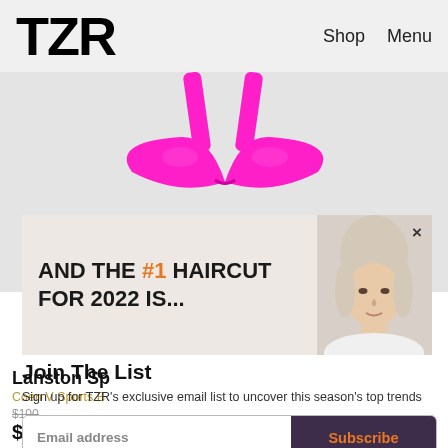TZR   Shop   Menu
[Figure (photo): Hot pink bikini top against light grey background]
[Figure (photo): Advertisement banner with text AND THE #1 HAIRCUT FOR 2022 IS... with woman's face on right side]
Join The List
Sign up for TZR's exclusive email list to uncover this season's top trends
Email address   Subscribe
Lanston Sp
Coen V Sports B
$100
$70